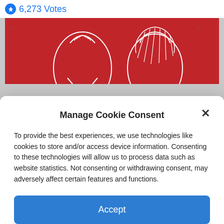6,273 Votes
[Figure (illustration): Red banner with white illustrated silhouettes of two faces on a patriotic American flag background with stars]
Manage Cookie Consent
To provide the best experiences, we use technologies like cookies to store and/or access device information. Consenting to these technologies will allow us to process data such as website statistics. Not consenting or withdrawing consent, may adversely affect certain features and functions.
Accept
Cookie Policy  Privacy Policy
[Figure (photo): Two partial photos of people viewed from behind at the bottom of the page]
[Figure (screenshot): Social sharing bar with add, Facebook, Twitter, link, and email buttons]